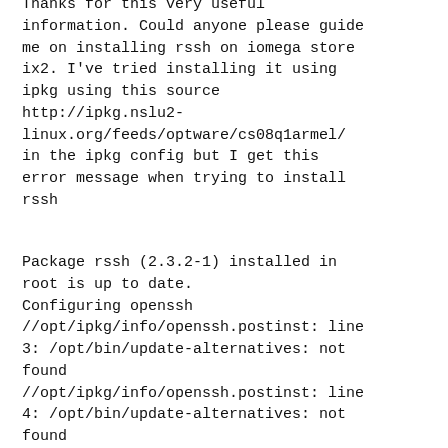Thanks for this very useful information. Could anyone please guide me on installing rssh on iomega store ix2. I've tried installing it using ipkg using this source http://ipkg.nslu2-linux.org/feeds/optware/cs08q1armel/ in the ipkg config but I get this error message when trying to install rssh
Package rssh (2.3.2-1) installed in root is up to date.
Configuring openssh
//opt/ipkg/info/openssh.postinst: line 3: /opt/bin/update-alternatives: not found
//opt/ipkg/info/openssh.postinst: line 4: /opt/bin/update-alternatives: not found